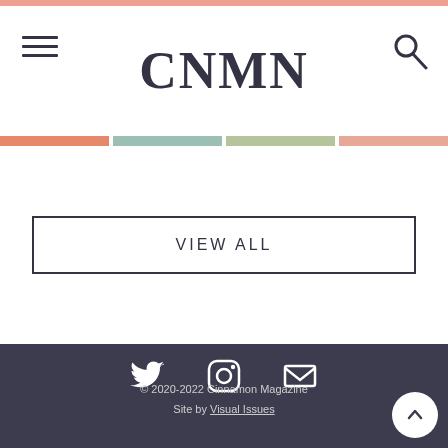CNMN
[Figure (other): Colored horizontal bars: salmon/coral, sage green, light olive green, peach]
VIEW ALL
[Figure (other): Social media icons: Twitter bird, Instagram camera, email envelope — white on dark background]
© 2020-2022 Cinnamon Magazine
Site by Visual Issues